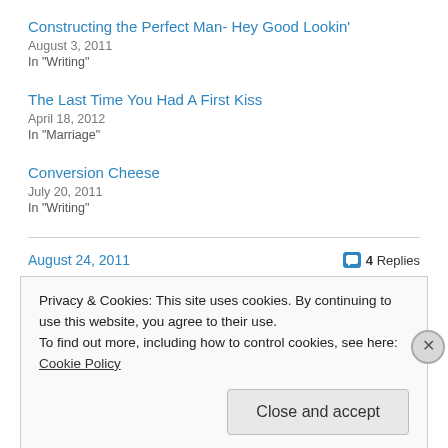Constructing the Perfect Man- Hey Good Lookin'
August 3, 2011
In "Writing"
The Last Time You Had A First Kiss
April 18, 2012
In "Marriage"
Conversion Cheese
July 20, 2011
In "Writing"
August 24, 2011
4 Replies
Privacy & Cookies: This site uses cookies. By continuing to use this website, you agree to their use. To find out more, including how to control cookies, see here: Cookie Policy
Close and accept